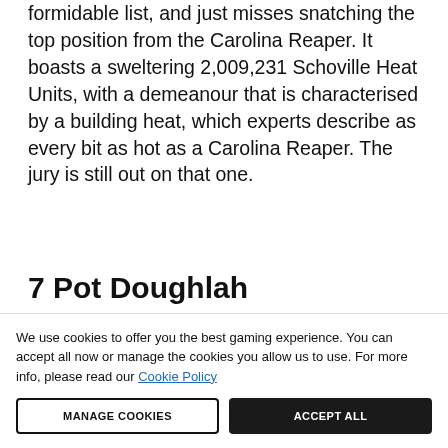formidable list, and just misses snatching the top position from the Carolina Reaper. It boasts a sweltering 2,009,231 Schoville Heat Units, with a demeanour that is characterised by a building heat, which experts describe as every bit as hot as a Carolina Reaper. The jury is still out on that one.
7 Pot Doughlah
We use cookies to offer you the best gaming experience. You can accept all now or manage the cookies you allow us to use. For more info, please read our Cookie Policy